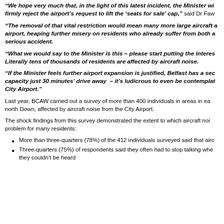“We hope very much that, in the light of this latest incident, the Minister wi… firmly reject the airport’s request to lift the ‘seats for sale’ cap,” said Dr Faw…
“The removal of that vital restriction would mean many more large aircraft … airport, heaping further misery on residents who already suffer from both a… serious accident.
“What we would say to the Minister is this – please start putting the interes… Literally tens of thousands of residents are affected by aircraft noise.
“If the Minister feels further airport expansion is justified, Belfast has a sec… capacity just 30 minutes’ drive away – it’s ludicrous to even be contemplat… City Airport.”
Last year, BCAW carried out a survey of more than 400 individuals in areas in ea… north Down, affected by aircraft noise from the City Airport.
The shock findings from this survey demonstrated the extent to which aircraft noi… problem for many residents:
More than three-quarters (78%) of the 412 individuals surveyed said that airc…
Three-quarters (75%) of respondents said they often had to stop talking whe… they couldn’t be heard